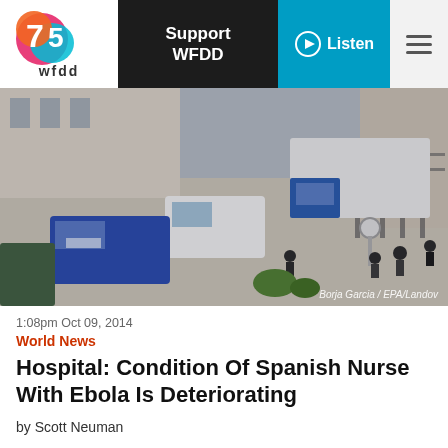wfdd | Support WFDD | Listen
[Figure (photo): Aerial view of police vehicles and officers outside a hospital building, with a large blue truck and white van parked in a courtyard. Credit: Borja Garcia / EPA/Landov]
Borja Garcia / EPA/Landov
1:08pm Oct 09, 2014
World News
Hospital: Condition Of Spanish Nurse With Ebola Is Deteriorating
by Scott Neuman